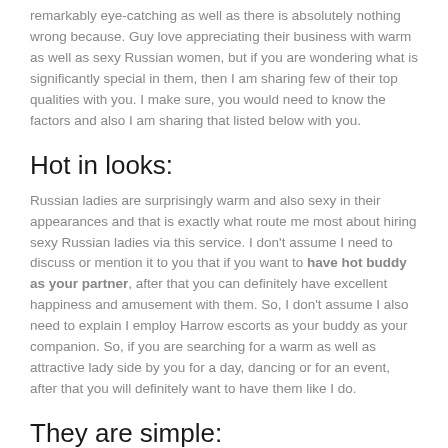remarkably eye-catching as well as there is absolutely nothing wrong because. Guy love appreciating their business with warm as well as sexy Russian women, but if you are wondering what is significantly special in them, then I am sharing few of their top qualities with you. I make sure, you would need to know the factors and also I am sharing that listed below with you.
Hot in looks:
Russian ladies are surprisingly warm and also sexy in their appearances and that is exactly what route me most about hiring sexy Russian ladies via this service. I don't assume I need to discuss or mention it to you that if you want to have hot buddy as your partner, after that you can definitely have excellent happiness and amusement with them. So, I don't assume I also need to explain I employ Harrow escorts as your buddy as your companion. So, if you are searching for a warm as well as attractive lady side by you for a day, dancing or for an event, after that you will definitely want to have them like I do.
They are simple: